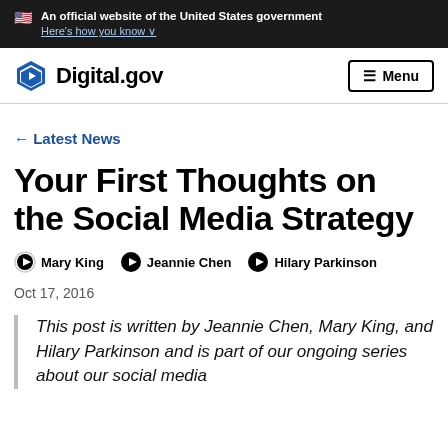An official website of the United States government
Here's how you know
Digital.gov | Menu
← Latest News
Your First Thoughts on the Social Media Strategy
Mary King  Jeannie Chen  Hilary Parkinson
Oct 17, 2016
This post is written by Jeannie Chen, Mary King, and Hilary Parkinson and is part of our ongoing series about our social media